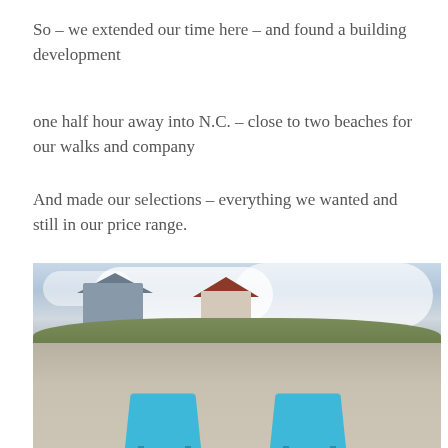So – we extended our time here – and found a building development
one half hour away into N.C. – close to two beaches for our walks and company
And made our selections – everything we wanted and still in our price range.
[Figure (photo): Beach scene with sand, dunes with vegetation, two beach houses in the background, partly cloudy sky, and two blue beach chairs in the foreground]